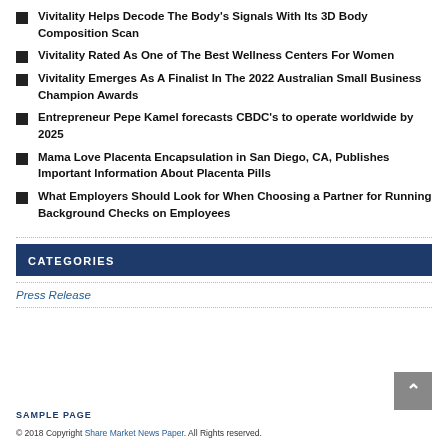Vivitality Helps Decode The Body's Signals With Its 3D Body Composition Scan
Vivitality Rated As One of The Best Wellness Centers For Women
Vivitality Emerges As A Finalist In The 2022 Australian Small Business Champion Awards
Entrepreneur Pepe Kamel forecasts CBDC's to operate worldwide by 2025
Mama Love Placenta Encapsulation in San Diego, CA, Publishes Important Information About Placenta Pills
What Employers Should Look for When Choosing a Partner for Running Background Checks on Employees
CATEGORIES
Press Release
SAMPLE PAGE
© 2018 Copyright Share Market News Paper. All Rights reserved.